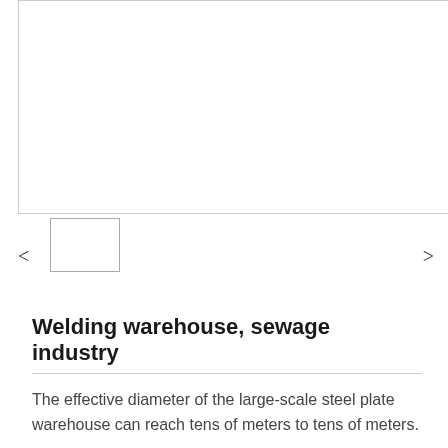[Figure (photo): Large white empty image area representing a product or warehouse photo viewer, with border.]
[Figure (photo): Navigation UI with left arrow, thumbnail image box, and right arrow for browsing product images.]
Welding warehouse, sewage industry
The effective diameter of the large-scale steel plate warehouse can reach tens of meters to tens of meters.